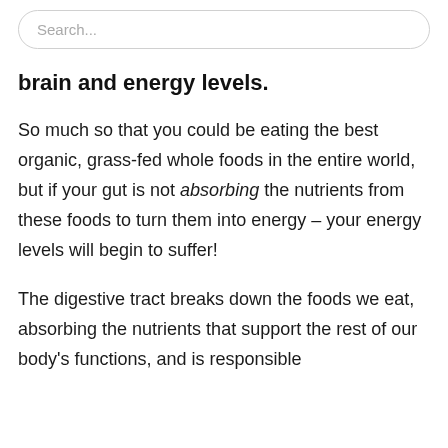Search...
brain and energy levels.
So much so that you could be eating the best organic, grass-fed whole foods in the entire world, but if your gut is not absorbing the nutrients from these foods to turn them into energy – your energy levels will begin to suffer!
The digestive tract breaks down the foods we eat, absorbing the nutrients that support the rest of our body's functions, and is responsible